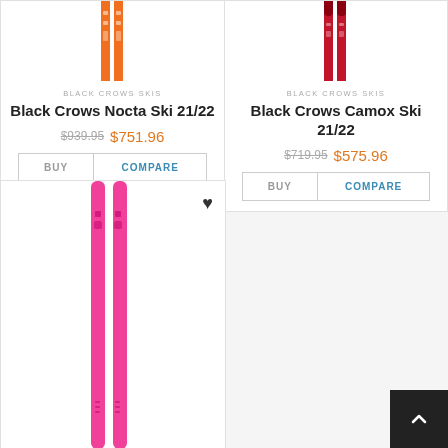[Figure (photo): Top portion of orange ski product image (Black Crows Nocta Ski 21/22), partially cropped at top]
[Figure (photo): Top portion of red ski product image (Black Crows Camox Ski 21/22), partially cropped at top]
BLACK CROWS SKIS
Black Crows Nocta Ski 21/22
$939.95 $751.96
BLACK CROWS SKIS
Black Crows Camox Ski 21/22
$719.95 $575.96
[Figure (photo): Pink ski product image (Black Crows ski, hot pink color), partially shown in bottom left card with heart/favorite icon]